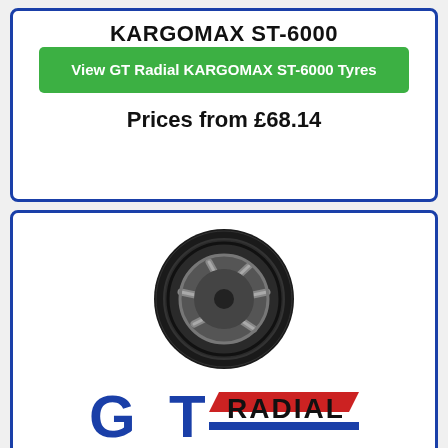KARGOMAX ST-6000
View GT Radial KARGOMAX ST-6000 Tyres
Prices from £68.14
[Figure (photo): GT Radial tyre product photo showing a black tyre with alloy wheel]
[Figure (logo): GT Radial brand logo in blue and red]